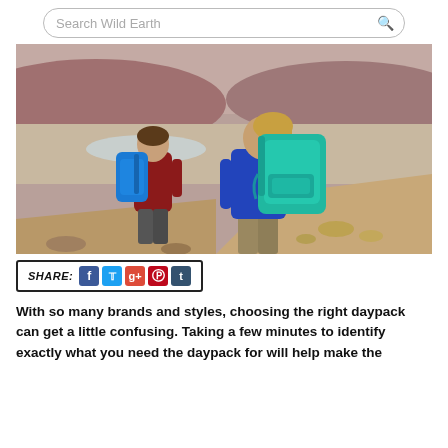Search Wild Earth
[Figure (photo): Two hikers seen from behind, one child and one adult, both wearing colorful Osprey backpacks. Child wears a blue backpack and red top; adult wears a teal/turquoise backpack and blue long-sleeve top. They stand on a rocky hillside overlooking an arid landscape with a reflective lake or salt flat in the background under an overcast sky.]
SHARE: [Facebook] [Twitter] [Google+] [Pinterest] [Tumblr]
With so many brands and styles, choosing the right daypack can get a little confusing. Taking a few minutes to identify exactly what you need the daypack for will help make the